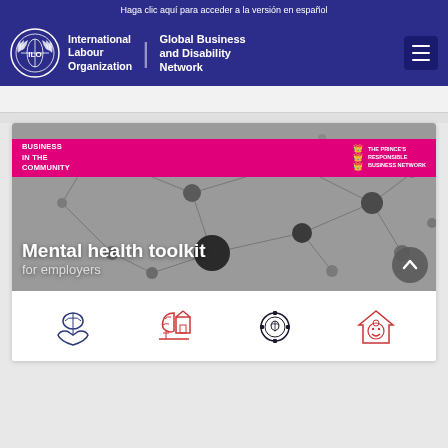Haga clic aquí para acceder a la versión en español
[Figure (logo): ILO logo with globe and laurel wreath, white on blue background. Text: International Labour Organization | Global Business and Disability Network with hamburger menu button]
[Figure (screenshot): Mental health toolkit for employers - Business in the Community / The Prince's Responsible Business Network. Network node graphic background with pink banner and white text overlay.]
[Figure (infographic): Four mental health related icons in a row: hands holding brain (dark blue), brain with house (red/orange), gear with brain (dark blue/black), house with face (red/orange)]